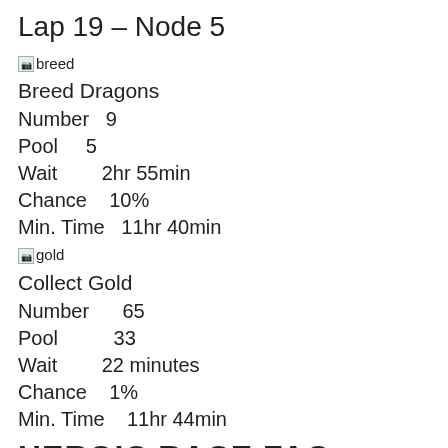Lap 19 – Node 5
[Figure (illustration): Small breed icon image placeholder]
Breed Dragons
Number   9
Pool     5
Wait        2hr 55min
Chance    10%
Min. Time   11hr 40min
[Figure (illustration): Small gold icon image placeholder]
Collect Gold
Number      65
Pool          33
Wait        22 minutes
Chance    1%
Min. Time    11hr 44min
HEROIC RACE FAQ